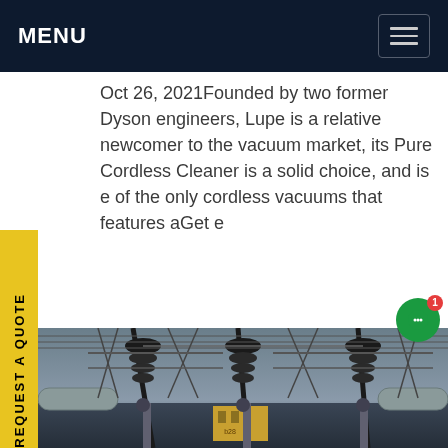MENU
Oct 26, 2021Founded by two former Dyson engineers, Lupe is a relative newcomer to the vacuum market, its Pure Cordless Cleaner is a solid choice, and is e of the only cordless vacuums that features aGet e
[Figure (photo): Electrical substation with large insulators, power lines, transformers and pipes photographed at dusk from ground level looking up.]